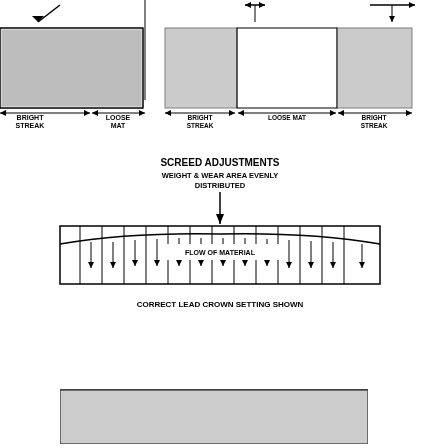[Figure (engineering-diagram): Top diagrams showing road surface cross-sections with bright streak and loose mat labels, with arrows indicating measurement areas. Two diagrams side by side.]
[Figure (engineering-diagram): Screed adjustments diagram showing weight and wear area evenly distributed with flow of material indicated by arrows across the screed plate. Labeled 'CORRECT LEAD CROWN SETTING SHOWN'.]
CORRECT LEAD CROWN SETTING SHOWN
[Figure (engineering-diagram): Bottom diagram showing a road surface cross-section with a clear upper section and a textured/aggregate lower section, partially cut off at the bottom of the page.]